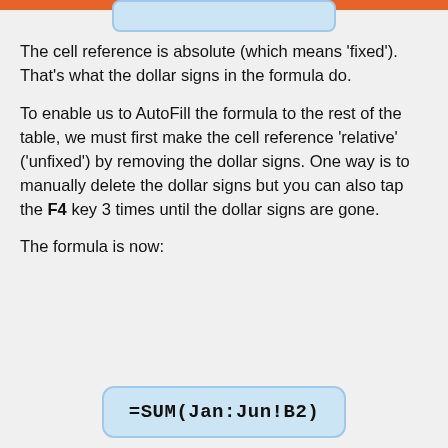[Figure (screenshot): Light blue rounded rectangle UI element partially visible at top of page]
The cell reference is absolute (which means 'fixed'). That's what the dollar signs in the formula do.
To enable us to AutoFill the formula to the rest of the table, we must first make the cell reference 'relative' ('unfixed') by removing the dollar signs. One way is to manually delete the dollar signs but you can also tap the F4 key 3 times until the dollar signs are gone.
The formula is now: